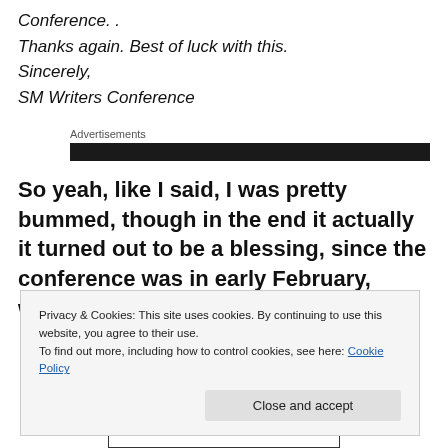Conference. .
Thanks again. Best of luck with this.
Sincerely,
SM Writers Conference
Advertisements
So yeah, like I said, I was pretty bummed, though in the end it actually it turned out to be a blessing, since the conference was in early February, when my dog was
Privacy & Cookies: This site uses cookies. By continuing to use this website, you agree to their use.
To find out more, including how to control cookies, see here: Cookie Policy
[Figure (illustration): Comic strip at bottom of page showing cartoon characters with text 'THANK YOU FOR SUBMITTING']